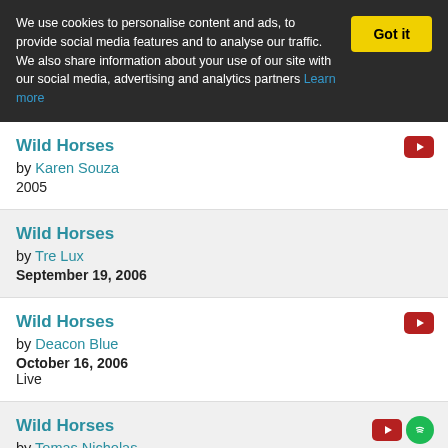We use cookies to personalise content and ads, to provide social media features and to analyse our traffic. We also share information about your use of our site with our social media, advertising and analytics partners Learn more  Got it
Wild Horses by Karen Souza 2005
Wild Horses by Tre Lux September 19, 2006
Wild Horses by Deacon Blue October 16, 2006 Live
Wild Horses by Tomas Nicholas April 16, 2007